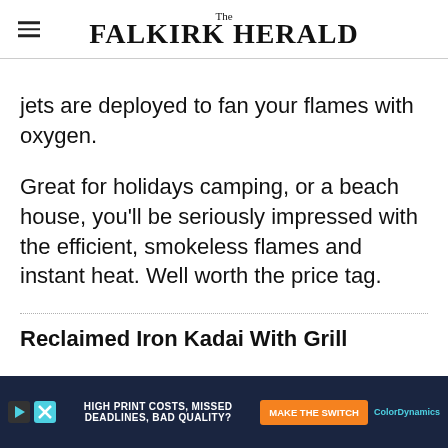The Falkirk Herald
jets are deployed to fan your flames with oxygen.
Great for holidays camping, or a beach house, you'll be seriously impressed with the efficient, smokeless flames and instant heat. Well worth the price tag.
Reclaimed Iron Kadai With Grill
[Figure (screenshot): Advertisement banner: HIGH PRINT COSTS, MISSED DEADLINES, BAD QUALITY? MAKE THE SWITCH — ColorDynamics]